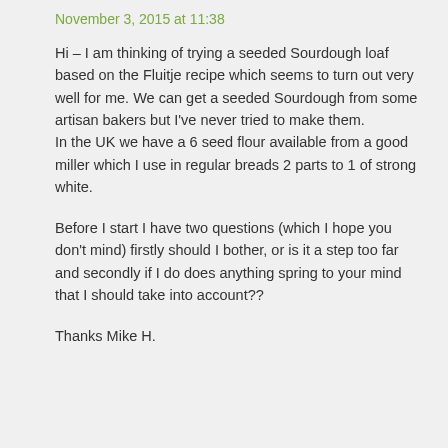November 3, 2015 at 11:38
Hi – I am thinking of trying a seeded Sourdough loaf based on the Fluitje recipe which seems to turn out very well for me. We can get a seeded Sourdough from some artisan bakers but I've never tried to make them.
In the UK we have a 6 seed flour available from a good miller which I use in regular breads 2 parts to 1 of strong white.
Before I start I have two questions (which I hope you don't mind) firstly should I bother, or is it a step too far and secondly if I do does anything spring to your mind that I should take into account??
Thanks Mike H.